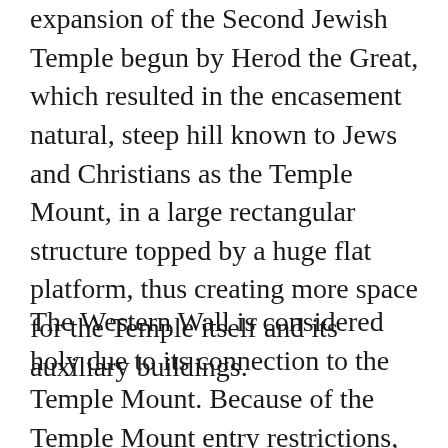expansion of the Second Jewish Temple begun by Herod the Great, which resulted in the encasement natural, steep hill known to Jews and Christians as the Temple Mount, in a large rectangular structure topped by a huge flat platform, thus creating more space for the Temple itself and its auxiliary buildings.
The Western Wall is considered holy due to its connection to the Temple Mount. Because of the Temple Mount entry restrictions, the Wall is the holiest place where Jews are permitted to pray there.